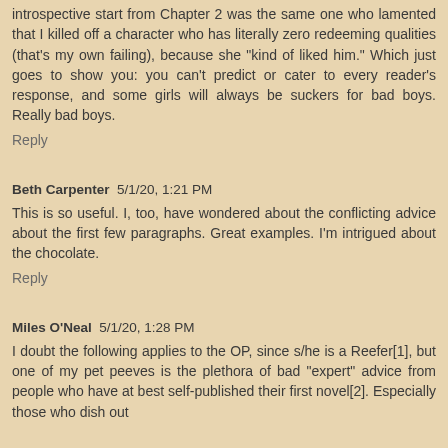introspective start from Chapter 2 was the same one who lamented that I killed off a character who has literally zero redeeming qualities (that's my own failing), because she "kind of liked him." Which just goes to show you: you can't predict or cater to every reader's response, and some girls will always be suckers for bad boys. Really bad boys.
Reply
Beth Carpenter 5/1/20, 1:21 PM
This is so useful. I, too, have wondered about the conflicting advice about the first few paragraphs. Great examples. I'm intrigued about the chocolate.
Reply
Miles O'Neal 5/1/20, 1:28 PM
I doubt the following applies to the OP, since s/he is a Reefer[1], but one of my pet peeves is the plethora of bad "expert" advice from people who have at best self-published their first novel[2]. Especially those who dish out